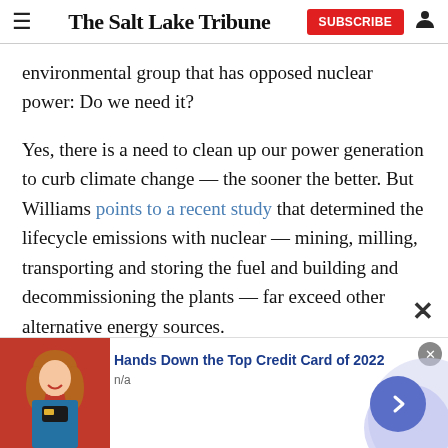The Salt Lake Tribune
environmental group that has opposed nuclear power: Do we need it?
Yes, there is a need to clean up our power generation to curb climate change — the sooner the better. But Williams points to a recent study that determined the lifecycle emissions with nuclear — mining, milling, transporting and storing the fuel and building and decommissioning the plants — far exceed other alternative energy sources.
[Figure (other): Advertisement banner: Hands Down the Top Credit Card of 2022, n/a, with photo of woman holding credit card and forward navigation arrow button]